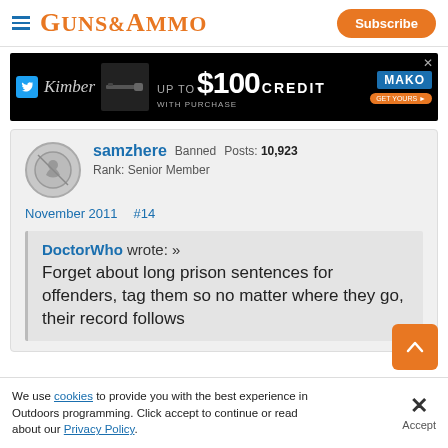GUNS&AMMO — Subscribe
[Figure (infographic): Kimber advertisement banner: $100 CREDIT WITH PURCHASE at MAKO]
samzhere Banned Posts: 10,923
Rank: Senior Member
November 2011 #14
DoctorWho wrote: » Forget about long prison sentences for offenders, tag them so no matter where they go, their record follows
We use cookies to provide you with the best experience in Outdoors programming. Click accept to continue or read about our Privacy Policy.